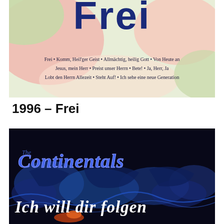[Figure (photo): Album cover for 'Frei' by The Continentals. Colorful pastel background with large bold title text partially visible at top, and a list of song titles in the middle.]
1996 – Frei
[Figure (photo): Album cover for 'Ich will dir folgen' by The Continentals. Dark/black background with blue world map, blue cursive 'The Continentals' logo at top, and white italic text 'Ich will dir folgen' at bottom.]